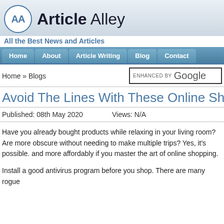Article Alley
All the Best News and Articles
Home | About | Article Writing | Blog | Contact
Home » Blogs
Avoid The Lines With These Online Shopping
Published: 08th May 2020    Views: N/A
Have you already bought products while relaxing in your living room? Are more obscure without needing to make multiple trips? Yes, it's possible. and more affordably if you master the art of online shopping.
Install a good antivirus program before you shop. There are many rogue